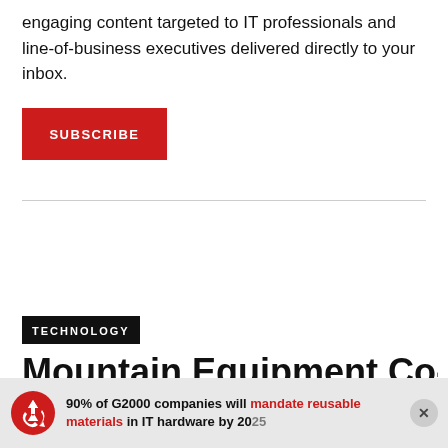engaging content targeted to IT professionals and line-of-business executives delivered directly to your inbox.
[Figure (other): Red SUBSCRIBE button]
TECHNOLOGY
Mountain Equipment Co-
[Figure (infographic): Ad banner: recycling icon with text '90% of G2000 companies will mandate reusable materials in IT hardware by 2025' and a close (X) button]